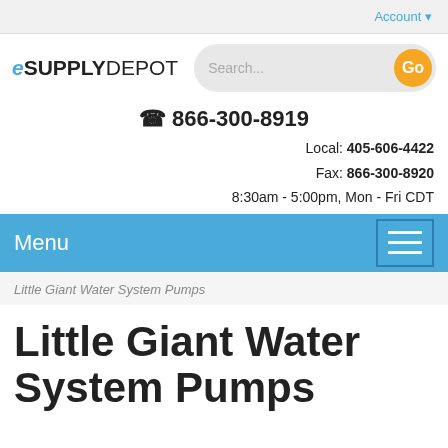Account
[Figure (logo): eSUPPLYDEPOT logo in bold sans-serif text]
Search...
☎ 866-300-8919
Local: 405-606-4422
Fax: 866-300-8920
8:30am - 5:00pm, Mon - Fri CDT
Menu
Little Giant Water System Pumps
Little Giant Water System Pumps